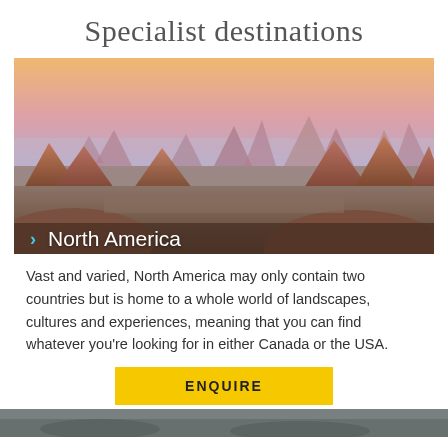Specialist destinations
[Figure (photo): Panoramic view of Monument Valley, North America, showing red rock buttes and mesas at sunset with warm orange sky and purple haze in background. Label reads '> North America' in white text with blue arrow.]
Vast and varied, North America may only contain two countries but is home to a whole world of landscapes, cultures and experiences, meaning that you can find whatever you're looking for in either Canada or the USA.
[Figure (photo): Partial bottom strip of a landscape photo, partially visible at bottom of page.]